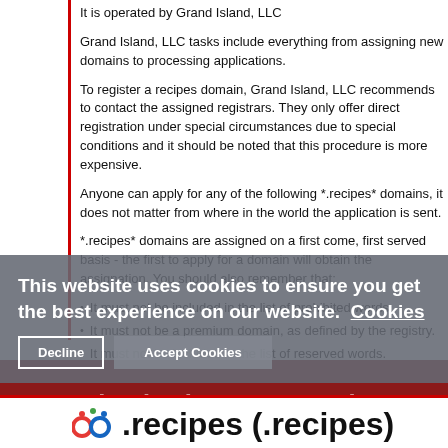It is operated by Grand Island, LLC
Grand Island, LLC tasks include everything from assigning new domains to processing applications.
To register a recipes domain, Grand Island, LLC recommends to contact the assigned registrars. They only offer direct registration under special circumstances due to special conditions and it should be noted that this procedure is more expensive.
Anyone can apply for any of the following *.recipes* domains, it does not matter from where in the world the application is sent.
*.recipes* domains are assigned on a first come, first served basis - the first to apply for a domain will obtain the assignation. You should also remember that:
It must not be included in the list of prohibited words.
It must not be a premium domain, as defined by the registry.
It must not be included in the list of reserved words.
It cannot have already been assigned.
It must comply with the rules of syntax.
This website uses cookies to ensure you get the best experience on our website. Cookies
Fixed Prices, No Auctions
.recipes (.recipes)